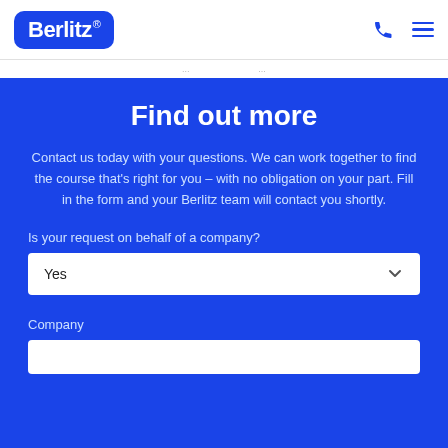Berlitz
Find out more
Contact us today with your questions. We can work together to find the course that's right for you – with no obligation on your part. Fill in the form and your Berlitz team will contact you shortly.
Is your request on behalf of a company?
Yes
Company